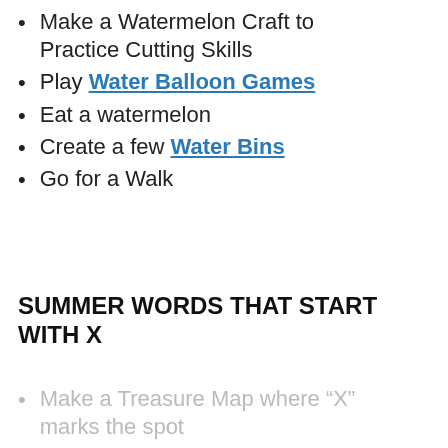Make a Watermelon Craft to Practice Cutting Skills
Play Water Balloon Games
Eat a watermelon
Create a few Water Bins
Go for a Walk
SUMMER WORDS THAT START WITH X
Make a Treasure Map where “X” marks the spot